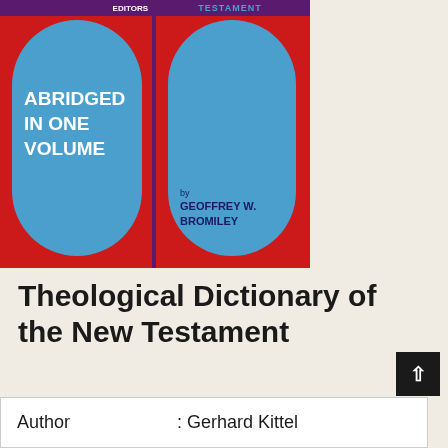[Figure (illustration): Book cover of Theological Dictionary of the New Testament, abridged in one volume. Red background with two blue arched panels. Left panel has white bold text 'ABRIDGED IN ONE VOLUME'. Right panel shows 'by GEOFFREY W. BROMILEY'. Top has purple bar with 'EDITORS' and 'TESTAMENT' text.]
Theological Dictionary of the New Testament
| Author | Value |
| --- | --- |
| Author | : Gerhard Kittel |